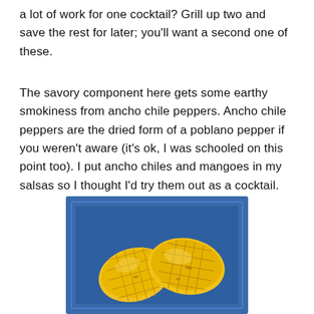a lot of work for one cocktail? Grill up two and save the rest for later; you'll want a second one of these.
The savory component here gets some earthy smokiness from ancho chile peppers. Ancho chile peppers are the dried form of a poblano pepper if you weren't aware (it's ok, I was schooled on this point too). I put ancho chiles and mangoes in my salsas so I thought I'd try them out as a cocktail.
[Figure (photo): Two halves of a grilled mango, cut-side up showing cross-hatch scoring, placed on a dark blue square plate against a light background.]